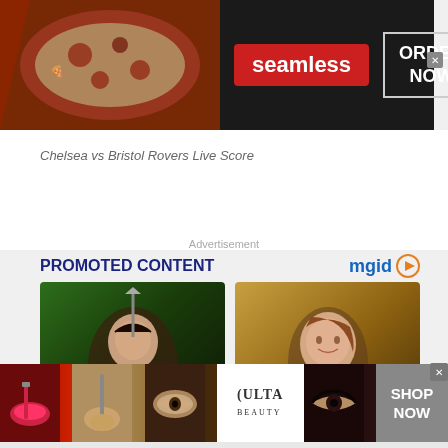[Figure (screenshot): Seamless food delivery banner ad with pizza image on left, seamless red logo in center, ORDER NOW button on right, dark background]
Chelsea vs Bristol Rovers Live Score
Advertisement
PROMOTED CONTENT
[Figure (logo): mgid logo with blue text and orange play button triangle]
[Figure (photo): Woman with dark hair in warrior costume (Xena-like character) with sword behind her back, jungle background]
[Figure (photo): Young woman with reddish-brown hair smiling, wearing jewelry, warm golden background (Kate Winslet in Titanic)]
[Figure (screenshot): Ulta Beauty banner ad with makeup close-up images, Ulta Beauty logo, and SHOP NOW button]